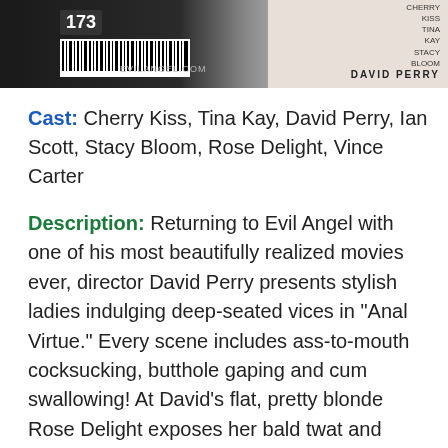[Figure (photo): DVD cover image showing barcode numbered 173, EVILANGEL.COM text, a barcode graphic, and a right panel with 'DAVID PERRY' logo and cast names Cherry Kiss, Tina Kay, Stacy Bloom against a light background with a partial figure visible]
Cast: Cherry Kiss, Tina Kay, David Perry, Ian Scott, Stacy Bloom, Rose Delight, Vince Carter
Description: Returning to Evil Angel with one of his most beautifully realized movies ever, director David Perry presents stylish ladies indulging deep-seated vices in "Anal Virtue." Every scene includes ass-to-mouth cocksucking, butthole gaping and cum swallowing! At David's flat, pretty blonde Rose Delight exposes her bald twat and strokes his spit-soaked meat. She whimpers as he fucks her pink pussy, and he porks her puckering asshole to an anal orgasm! Bronzed Cherry Kiss shoves a big